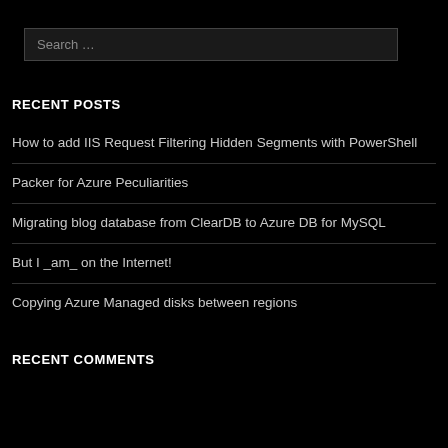Search …
RECENT POSTS
How to add IIS Request Filtering Hidden Segments with PowerShell
Packer for Azure Peculiarities
Migrating blog database from ClearDB to Azure DB for MySQL
But I _am_ on the Internet!
Copying Azure Managed disks between regions
RECENT COMMENTS